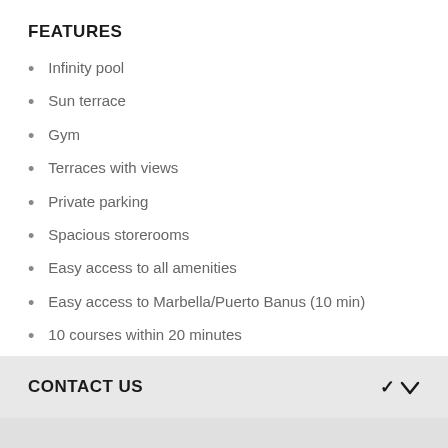FEATURES
Infinity pool
Sun terrace
Gym
Terraces with views
Private parking
Spacious storerooms
Easy access to all amenities
Easy access to Marbella/Puerto Banus (10 min)
10 courses within 20 minutes
CONTACT US